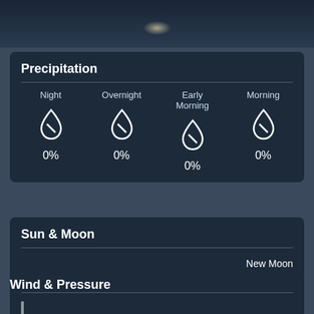[Figure (photo): Dark night sky background with faint moon glow at top]
Precipitation
| Night | Overnight | Early Morning | Morning |
| --- | --- | --- | --- |
| 0% | 0% | 0% | 0% |
Sun & Moon
New Moon
5:15 AM
6:37 PM
Wind & Pressure